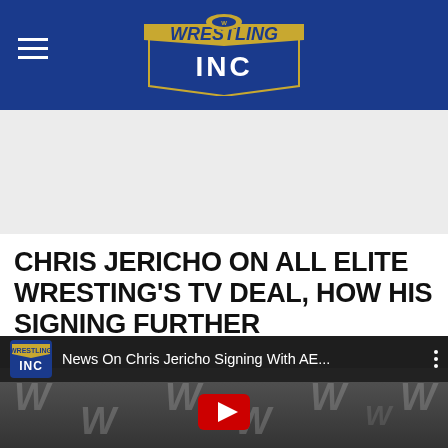Wrestling INC
CHRIS JERICHO ON ALL ELITE WRESTING'S TV DEAL, HOW HIS SIGNING FURTHER LEGITIMIZED AEW
[Figure (screenshot): YouTube video thumbnail showing Wrestling Inc logo and title 'News On Chris Jericho Signing With AE...' with a person visible in the background against WWE logo backdrop and a YouTube play button overlay]